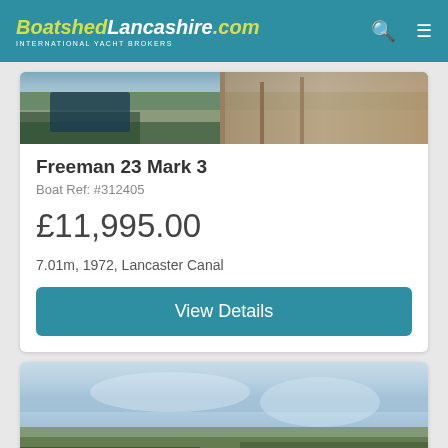BoatshedLancashire.com — INTERNATIONAL YACHT BROKERS
[Figure (photo): Photo of boat at dock with wooden pier and water in background]
Freeman 23 Mark 3
Boat Ref: #312405
£11,995.00
7.01m, 1972, Lancaster Canal
View Details
[Figure (photo): Partial photo of second boat listing, showing sky and trees/water]